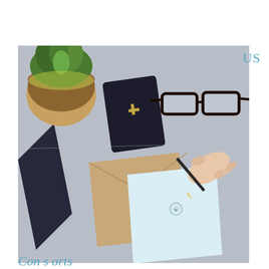[Figure (photo): Overhead desk scene with a succulent plant in a yellow-green pot, a dark card holder with a gold plus sign, glasses, a tablet, a kraft envelope, a light blue notecard with a small emblem, and a hand holding a pencil, all on a grey surface.]
US
Con s orts